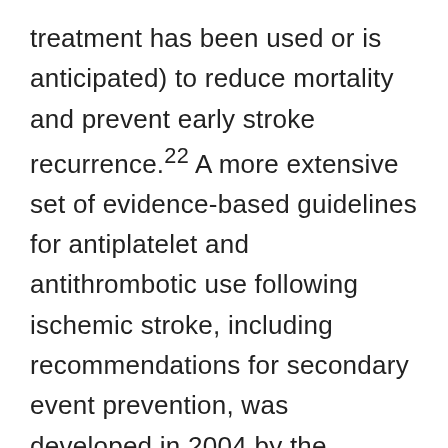treatment has been used or is anticipated) to reduce mortality and prevent early stroke recurrence.22 A more extensive set of evidence-based guidelines for antiplatelet and antithrombotic use following ischemic stroke, including recommendations for secondary event prevention, was developed in 2004 by the American College of Chest Physicians (ACCP).23 The primary recommendation (Grade 1A) is to provide treatment with an antiplatelet agent (i.e., aspirin at 50 to 325 mg/day, extended-release dipyridamole at 300...